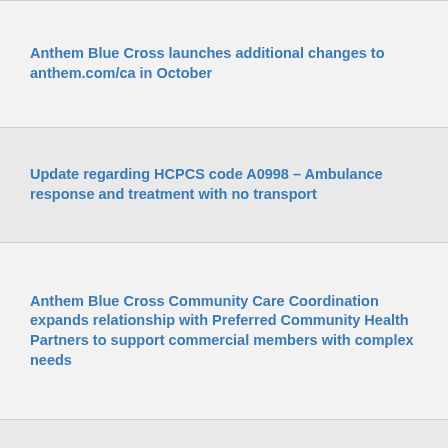Anthem Blue Cross launches additional changes to anthem.com/ca in October
Update regarding HCPCS code A0998 – Ambulance response and treatment with no transport
Anthem Blue Cross Community Care Coordination expands relationship with Preferred Community Health Partners to support commercial members with complex needs
Integrated medical and behavioral healthcare services
Misrouted protected health information (PHI)
Anthem Blue Cross' PERS Select PPO update
Special investigations Unit update